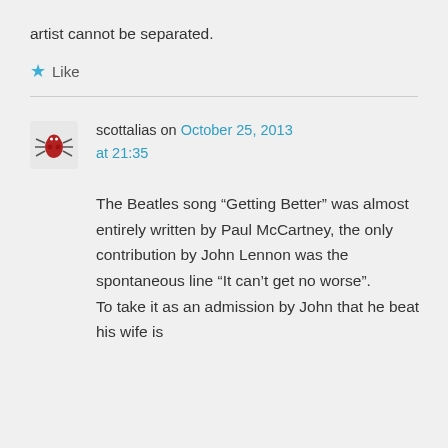artist cannot be separated.
Like
scottalias on October 25, 2013 at 21:35
The Beatles song “Getting Better” was almost entirely written by Paul McCartney, the only contribution by John Lennon was the spontaneous line “It can’t get no worse”.
To take it as an admission by John that he beat his wife is